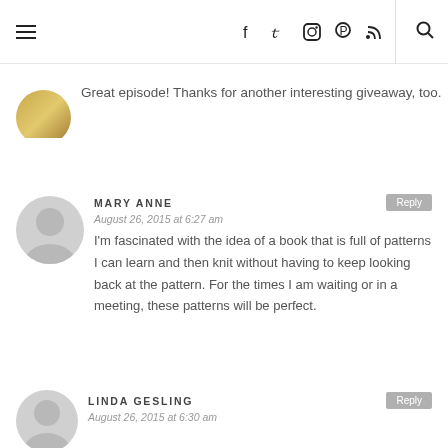≡  f  t  ☷  ⊕  ≈  🔍
Great episode! Thanks for another interesting giveaway, too.
MARY ANNE — August 26, 2015 at 6:27 am — I'm fascinated with the idea of a book that is full of patterns I can learn and then knit without having to keep looking back at the pattern. For the times I am waiting or in a meeting, these patterns will be perfect.
LINDA GESLING — August 26, 2015 at 6:30 am